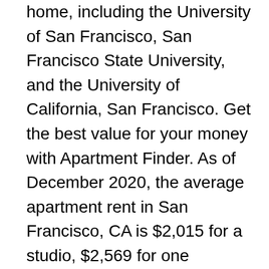home, including the University of San Francisco, San Francisco State University, and the University of California, San Francisco. Get the best value for your money with Apartment Finder. As of December 2020, the average apartment rent in San Francisco, CA is $2,015 for a studio, $2,569 for one bedroom, $3,508 for two bedrooms, and $4,795 for three bedrooms. 2 Bedroom Apartments In San Francisco – Many people come to try a sourdough bread bowl at fisherman s wharfor take a guided tour of alcatraz after taking a ferry to the island where the prison is situated. This listing is 21% below the median price for 2 bedroom apartments in Mission . From its hilly streets to the sparkling water of the San Francisco Bay, this city is truly iconic. The apartment has 1 bedroom, a flat-screen TV with cable channels, an